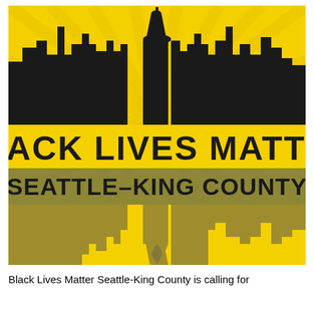[Figure (logo): Black Lives Matter Seattle-King County logo. Yellow and black graphic featuring the Seattle skyline silhouette with the Space Needle, radiating yellow sunburst rays in the background. Bold yellow text reads 'BLACK LIVES MATTER' and below it on a dark grey/olive band reads 'SEATTLE-KING COUNTY'. The skyline is reflected/mirrored below in dark olive/grey tones.]
Black Lives Matter Seattle-King County is calling for